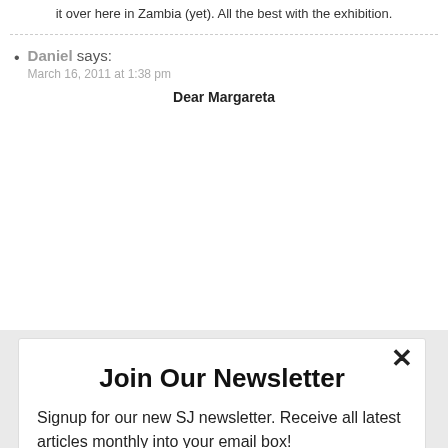it over here in Zambia (yet). All the best with the exhibition.
Daniel says: March 16, 2011 at 1:38 pm
Dear Margareta
Join Our Newsletter
Signup for our new SJ newsletter. Receive all latest articles monthly into your email box!
Enter your email
Subscribe
powered by MailMunch